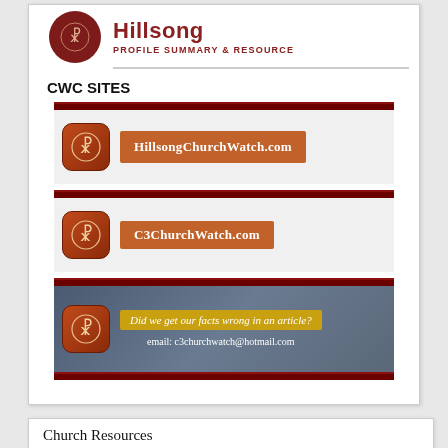[Figure (logo): Hillsong Profile Summary & Resource header with Chi-Rho logo]
CWC SITES
[Figure (infographic): HillsongChurchWatch.com banner with Chi-Rho icon]
[Figure (infographic): C3ChurchWatch.com banner with Chi-Rho icon]
[Figure (infographic): Did we get our facts wrong in an article? email: c3churchwatch@hotmail.com banner]
Church Resources